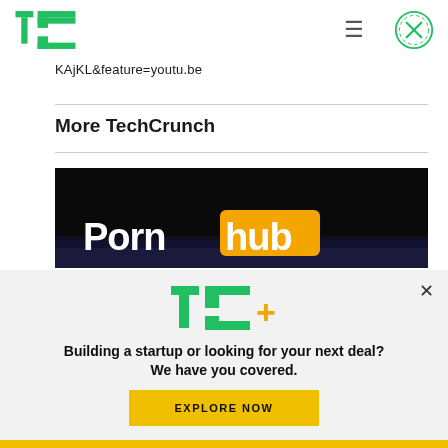TechCrunch logo, hamburger menu, close button
KAjKL&feature=youtu.be
More TechCrunch
[Figure (photo): Pornhub logo on dark background — blue-lit surface with white and orange text reading 'Pornhub']
[Figure (infographic): TC+ promotional overlay with green TC+ logo, bold tagline 'Building a startup or looking for your next deal? We have you covered.' and a yellow 'EXPLORE NOW' button]